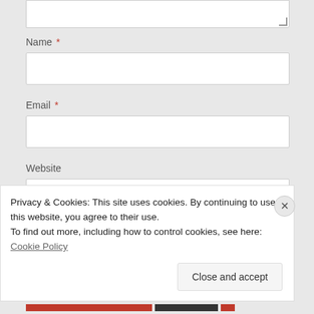Name *
Email *
Website
POST COMMENT
Privacy & Cookies: This site uses cookies. By continuing to use this website, you agree to their use.
To find out more, including how to control cookies, see here: Cookie Policy
Close and accept